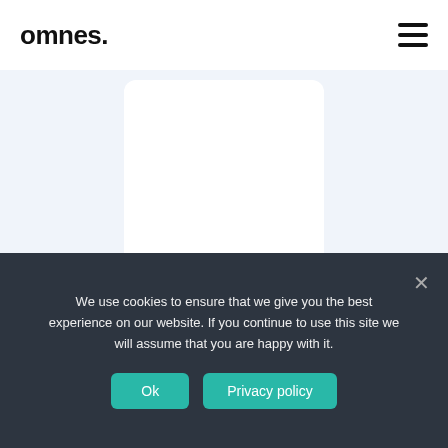omnes.
[Figure (screenshot): Job listing card with light blue background and a white card in the center]
Full time
Belgrade
Lead DevOps Engineer
We use cookies to ensure that we give you the best experience on our website. If you continue to use this site we will assume that you are happy with it.
Ok
Privacy policy